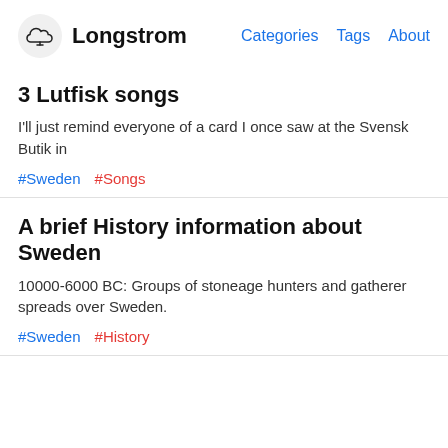Longstrom | Categories Tags About
3 Lutfisk songs
I'll just remind everyone of a card I once saw at the Svensk Butik in
#Sweden   #Songs
A brief History information about Sweden
10000-6000 BC: Groups of stoneage hunters and gatherer spreads over Sweden.
#Sweden   #History